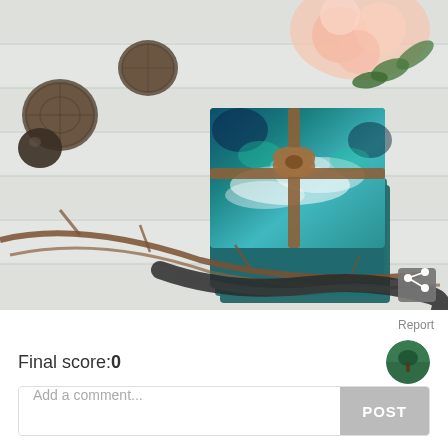[Figure (photo): A stack of ocean-themed resin art coasters tied with a brown leather bow, placed on a white wood table surrounded by decorative twigs, dark ribbon, wicker balls, and pink roses in the background.]
Report
Final score:0
Add a comment...
POST